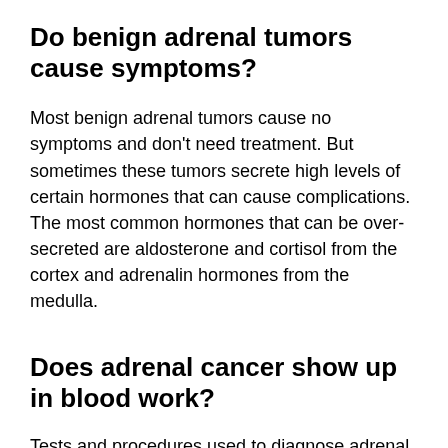Do benign adrenal tumors cause symptoms?
Most benign adrenal tumors cause no symptoms and don't need treatment. But sometimes these tumors secrete high levels of certain hormones that can cause complications. The most common hormones that can be over-secreted are aldosterone and cortisol from the cortex and adrenalin hormones from the medulla.
Does adrenal cancer show up in blood work?
Tests and procedures used to diagnose adrenal cancer include: Blood and urine tests. Laboratory